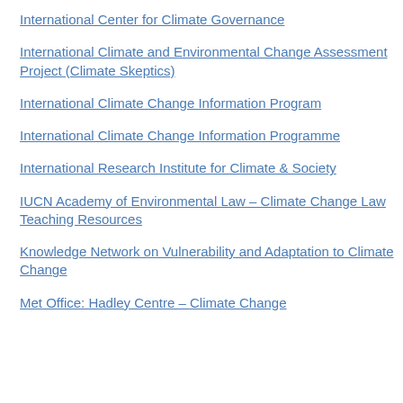International Center for Climate Governance
International Climate and Environmental Change Assessment Project (Climate Skeptics)
International Climate Change Information Program
International Climate Change Information Programme
International Research Institute for Climate & Society
IUCN Academy of Environmental Law – Climate Change Law Teaching Resources
Knowledge Network on Vulnerability and Adaptation to Climate Change
Met Office: Hadley Centre – Climate Change